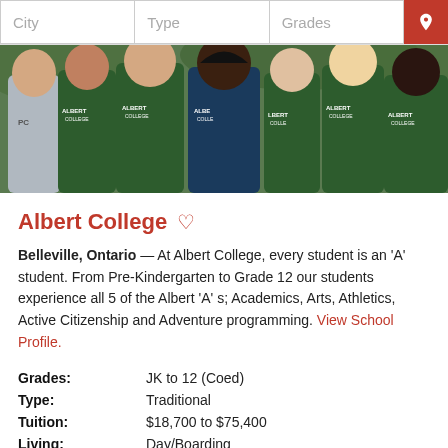City | Type | Grades
[Figure (photo): Group photo of students wearing Albert College hoodies (green and grey) posing together outdoors]
Albert College
Belleville, Ontario — At Albert College, every student is an 'A' student. From Pre-Kindergarten to Grade 12 our students experience all 5 of the Albert 'A' s; Academics, Arts, Athletics, Active Citizenship and Adventure programming. View School Profile.
| Grades: | JK to 12 (Coed) |
| Type: | Traditional |
| Tuition: | $18,700 to $75,400 |
| Living: | Day/Boarding |
| Enrollment: | 303 |
| Avg. Class | 15 |